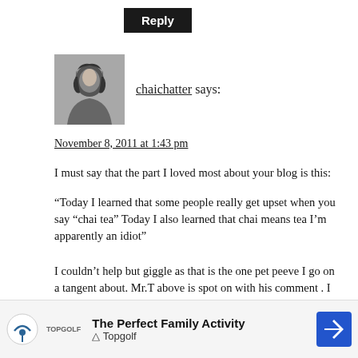Reply
[Figure (photo): User avatar photo of chaichatter — black and white portrait photo of a woman with dark hair]
chaichatter says:
November 8, 2011 at 1:43 pm
I must say that the part I loved most about your blog is this:
“Today I learned that some people really get upset when you say “chai tea” Today I also learned that chai means tea I’m apparently an idiot”
I couldn’t help but giggle as that is the one pet peeve I go on a tangent about. Mr.T above is spot on with his comment . I may have to give in try this concoction just because, well, I *am* Your Chai-ness 🙂
I als... ai Con... and
[Figure (infographic): Advertisement banner for Topgolf — The Perfect Family Activity. Shows Topgolf logo and a blue navigation arrow icon.]